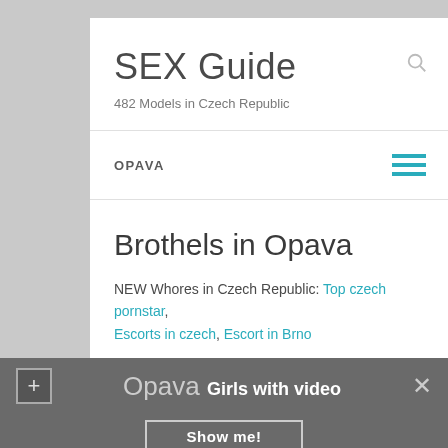SEX Guide
482 Models in Czech Republic
OPAVA
Brothels in Opava
NEW Whores in Czech Republic: Top czech pornstar, Escorts in czech, Escort in Brno
Photo Prostitutes
Opava Girls with video
Show me!
Jessica